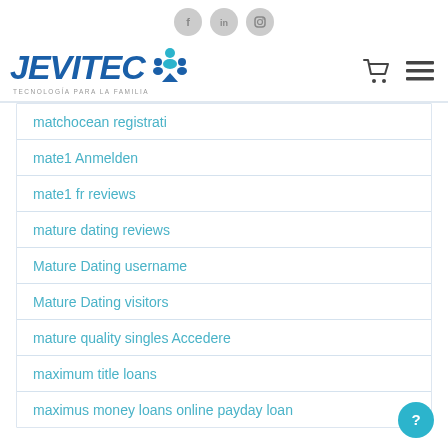Social media icons: Facebook, LinkedIn, Instagram
[Figure (logo): JEVITEC logo with tagline TECNOLOGÍA PARA LA FAMILIA and navigation icons (cart, menu)]
matchocean registrati
mate1 Anmelden
mate1 fr reviews
mature dating reviews
Mature Dating username
Mature Dating visitors
mature quality singles Accedere
maximum title loans
maximus money loans online payday loan